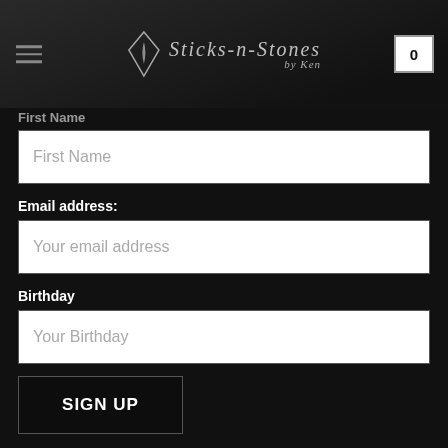[Figure (logo): Sticks-n-Stones by Ken logo with diamond/flame icon and stylized script text, on dark background with navigation hamburger menu and shopping cart icon showing 0]
First Name
[Figure (screenshot): First Name input field (white background, empty)]
Email address:
[Figure (screenshot): Your email address input field (white background, empty)]
Birthday
[Figure (screenshot): Your Birthday input field (white background, empty)]
SIGN UP